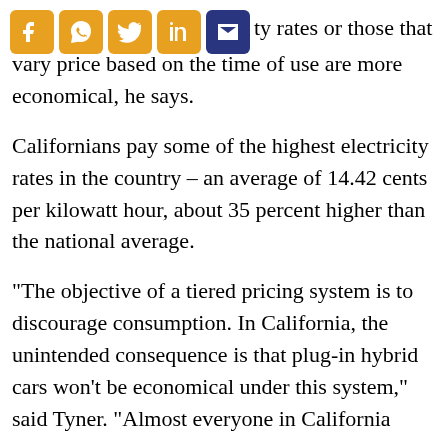[Figure (other): Social media sharing icons: Facebook, WhatsApp, Twitter, LinkedIn, Email]
te it at c ty rates or those that vary price based on the time of use are more economical, he says.
Californians pay some of the highest electricity rates in the country – an average of 14.42 cents per kilowatt hour, about 35 percent higher than the national average.
“The objective of a tiered pricing system is to discourage consumption. In California, the unintended consequence is that plug-in hybrid cars won’t be economical under this system,” said Tyner. “Almost everyone in California